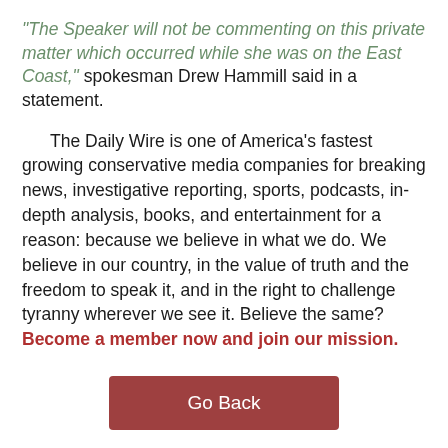"The Speaker will not be commenting on this private matter which occurred while she was on the East Coast," spokesman Drew Hammill said in a statement.
The Daily Wire is one of America's fastest growing conservative media companies for breaking news, investigative reporting, sports, podcasts, in-depth analysis, books, and entertainment for a reason: because we believe in what we do. We believe in our country, in the value of truth and the freedom to speak it, and in the right to challenge tyranny wherever we see it. Believe the same? Become a member now and join our mission.
[Figure (other): A rectangular button labeled 'Go Back' with a dark red background and white text]